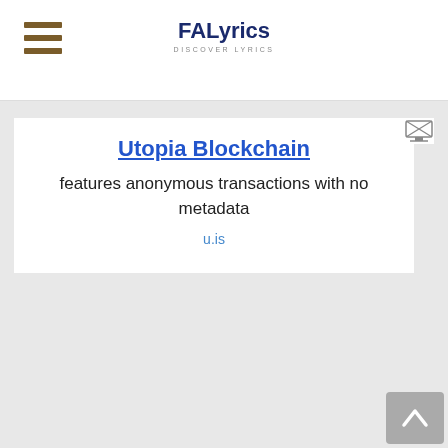FALyrics — DISCOVER LYRICS
[Figure (other): Advertisement banner: Utopia Blockchain — features anonymous transactions with no metadata — u.is]
features anonymous transactions with no metadata
u.is